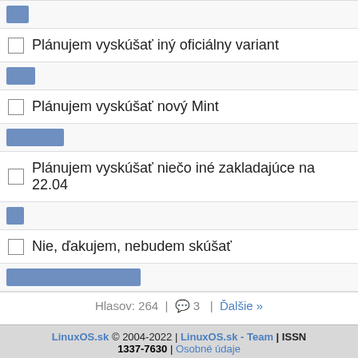Plánujem vyskúšať iný oficiálny variant
Plánujem vyskúšať nový Mint
Plánujem vyskúšať niečo iné zakladajúce na 22.04
Nie, ďakujem, nebudem skúšať
Hlasov: 264 | 💬 3 | Ďalšie »
Hlasovať
LinuxOS.sk © 2004-2022 | LinuxOS.sk - Team | ISSN 1337-7630 | Osobné údaje